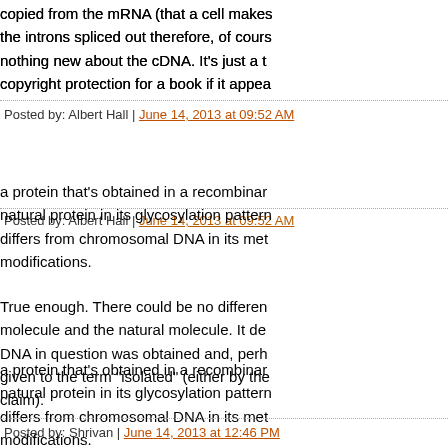copied from the mRNA (that a cell makes the introns spliced out therefore, of cours nothing new about the cDNA. It's just a t copyright protection for a book if it appea
Posted by: Albert Hall | June 14, 2013 at 09:52 AM
a protein that's obtained in a recombinar natural protein in its glycosylation pattern differs from chromosomal DNA in its met modifications.
True enough. There could be no differen molecule and the natural molecule. It de DNA in question was obtained and, perh given to the term "isolated" (either by the claim).
Posted by: Shrivan | June 14, 2013 at 12:46 PM
This is not a big deal, but the link to "opi does not work.